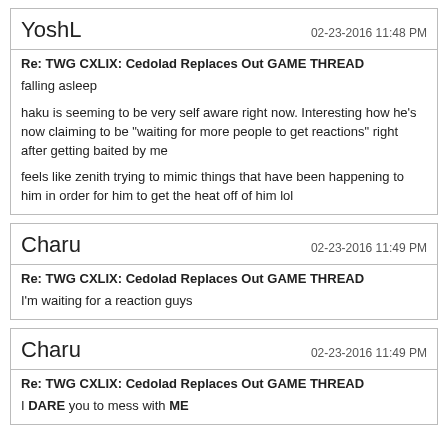YoshL — 02-23-2016 11:48 PM
Re: TWG CXLIX: Cedolad Replaces Out GAME THREAD
falling asleep

haku is seeming to be very self aware right now. Interesting how he's now claiming to be "waiting for more people to get reactions" right after getting baited by me

feels like zenith trying to mimic things that have been happening to him in order for him to get the heat off of him lol
Charu — 02-23-2016 11:49 PM
Re: TWG CXLIX: Cedolad Replaces Out GAME THREAD
I'm waiting for a reaction guys
Charu — 02-23-2016 11:49 PM
Re: TWG CXLIX: Cedolad Replaces Out GAME THREAD
I DARE you to mess with ME